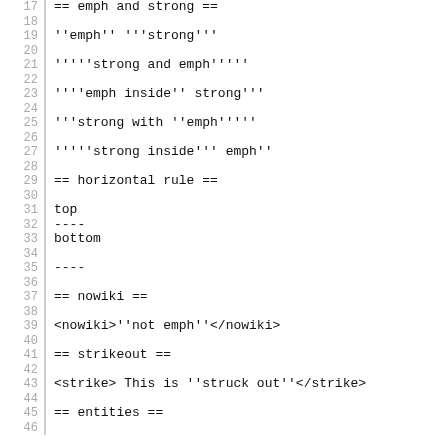17  == emph and strong ==
18
19  ''emph'' '''strong'''
20
21  '''''strong and emph'''''
22
23  ''''emph inside'' strong'''
24
25  '''strong with ''emph'''''
26
27  '''''strong inside''' emph''
28
29  == horizontal rule ==
30
31  top
32  ----
33  bottom
34
35  ----
36
37  == nowiki ==
38
39  <nowiki>''not emph''</nowiki>
40
41  == strikeout ==
42
43  <strike> This is ''struck out''</strike>
44
45  == entities ==
46